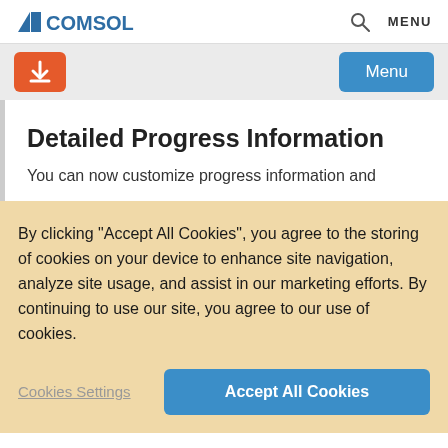COMSOL  Q  MENU
[Figure (logo): COMSOL logo with blue triangle icon and blue text, search icon and MENU text on right]
[Figure (screenshot): Orange download button on left, blue Menu button on right]
Detailed Progress Information
You can now customize progress information and
By clicking “Accept All Cookies”, you agree to the storing of cookies on your device to enhance site navigation, analyze site usage, and assist in our marketing efforts. By continuing to use our site, you agree to our use of cookies.
Cookies Settings
Accept All Cookies